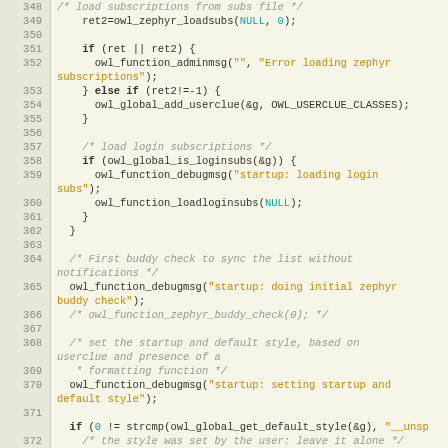[Figure (screenshot): Source code listing showing C code lines 348-374, with line numbers in left gutter on tan background, code on light background with syntax highlighting: comments in gray italic, string literals in orange, numeric literals in cyan, keywords in bold.]